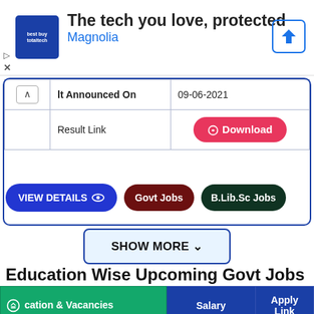[Figure (infographic): Ad banner: totaltech logo, 'The tech you love, protected' headline, 'Magnolia' subtext in blue, navigation arrow icon on right, play and close icons on left]
|  | lt Announced On | 09-06-2021 |
| --- | --- | --- |
| Result Link |  | Download |
VIEW DETAILS  Govt Jobs  B.Lib.Sc Jobs
SHOW MORE ˅
Education Wise Upcoming Govt Jobs
| cation & Vacancies | Salary | Apply Link |
| --- | --- | --- |
| 10th Class Jobs - 24882+ | Rs. 8,000 - |  |